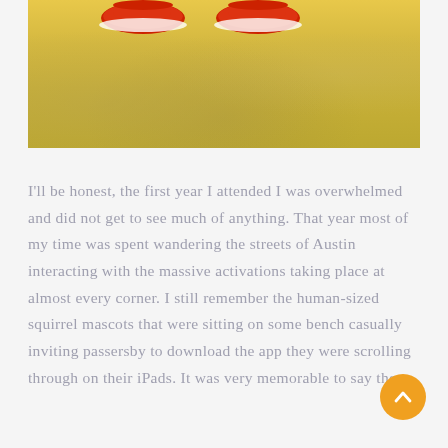[Figure (photo): Partial view of a person's red sneakers/shoes standing on sandy ground, photographed from above. The sand is a warm yellow-tan color.]
I'll be honest, the first year I attended I was overwhelmed and did not get to see much of anything. That year most of my time was spent wandering the streets of Austin interacting with the massive activations taking place at almost every corner. I still remember the human-sized squirrel mascots that were sitting on some bench casually inviting passersby to download the app they were scrolling through on their iPads. It was very memorable to say the